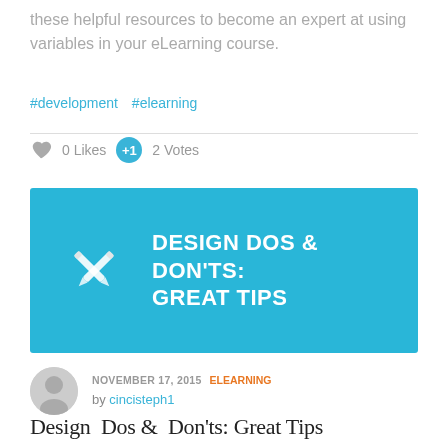these helpful resources to become an expert at using variables in your eLearning course.
#development  #elearning
0 Likes   2 Votes
[Figure (illustration): Blue banner image with crossed pencil/pen icons and white bold text reading 'DESIGN DOS & DON’TS: GREAT TIPS']
NOVEMBER 17, 2015  |  ELEARNING
by cincisteph1
Design  Dos &  Don’ts: Great Tips